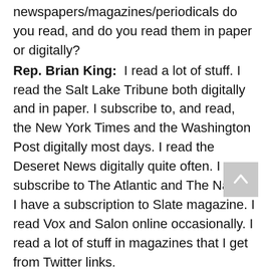newspapers/magazines/periodicals do you read, and do you read them in paper or digitally?
Rep. Brian King: I read a lot of stuff. I read the Salt Lake Tribune both digitally and in paper. I subscribe to, and read, the New York Times and the Washington Post digitally most days. I read the Deseret News digitally quite often. I subscribe to The Atlantic and The Nation. I have a subscription to Slate magazine. I read Vox and Salon online occasionally. I read a lot of stuff in magazines that I get from Twitter links.
Candidates.vote: What music do you enjoy listening to?
Rep. Brian King: I like a wide variety of music. Classical, rock, folk, are probably